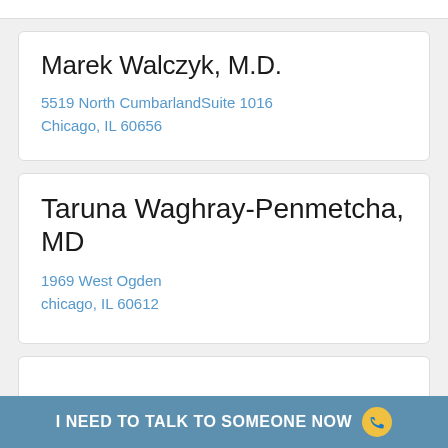Marek Walczyk, M.D.
5519 North CumbarlandSuite 1016
Chicago, IL 60656
Taruna Waghray-Penmetcha, MD
1969 West Ogden
chicago, IL 60612
I NEED TO TALK TO SOMEONE NOW